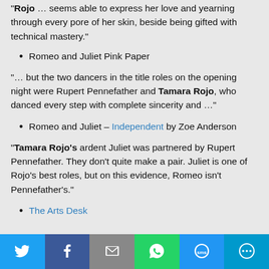"Rojo … seems able to express her love and yearning through every pore of her skin, beside being gifted with technical mastery."
Romeo and Juliet Pink Paper
"… but the two dancers in the title roles on the opening night were Rupert Pennefather and Tamara Rojo, who danced every step with complete sincerity and …"
Romeo and Juliet – Independent by Zoe Anderson
"Tamara Rojo's ardent Juliet was partnered by Rupert Pennefather. They don't quite make a pair. Juliet is one of Rojo's best roles, but on this evidence, Romeo isn't Pennefather's."
The Arts Desk
[Figure (infographic): Social media share bar with Twitter, Facebook, Email, WhatsApp, SMS, and More buttons]